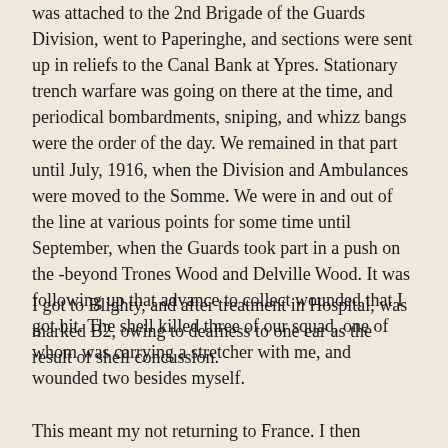was attached to the 2nd Brigade of the Guards Division, went to Paperinghe, and sections were sent up in reliefs to the Canal Bank at Ypres. Stationary trench warfare was going on there at the time, and periodical bombardments, sniping, and whizz bangs were the order of the day. We remained in that part until July, 1916, when the Division and Ambulances were moved to the Somme. We were in and out of the line at various points for some time until September, when the Guards took part in a push on the -beyond Trones Wood and Delville Wood. It was following up that advance to collect wounded that I got hit. The shell killed three of our squad, one of whom was carrying a stretcher with me, and wounded two besides myself.
I got to Blighty, and after treatment in Hospital, was marked B2, owing to deafness to one ear as the result of shell concussion.
This meant my not returning to France. I then applied for a